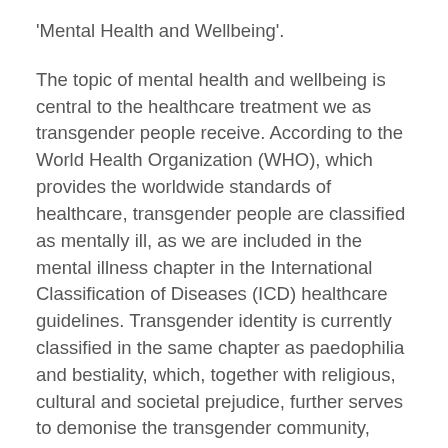'Mental Health and Wellbeing'.
The topic of mental health and wellbeing is central to the healthcare treatment we as transgender people receive. According to the World Health Organization (WHO), which provides the worldwide standards of healthcare, transgender people are classified as mentally ill, as we are included in the mental illness chapter in the International Classification of Diseases (ICD) healthcare guidelines. Transgender identity is currently classified in the same chapter as paedophilia and bestiality, which, together with religious, cultural and societal prejudice, further serves to demonise the transgender community, exacerbating the oppression and discrimination we face on a daily basis.
Just as homosexuality was classified as a mental illness in previous versions of the ICD and gay and